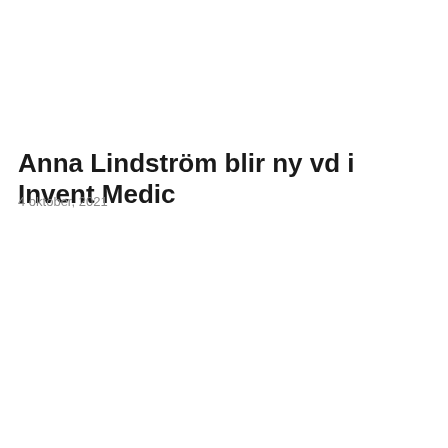Anna Lindström blir ny vd i Invent Medic
4 oktober, 2021